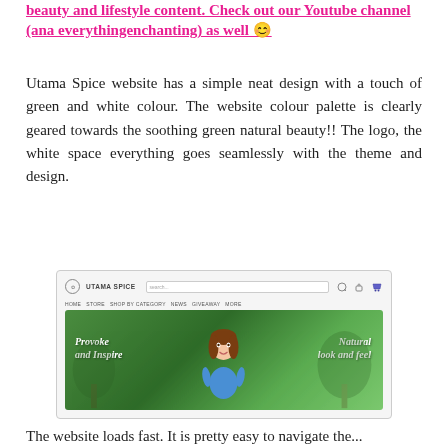beauty and lifestyle content. Check out our Youtube channel (ana everythingenchanting) as well 😊
Utama Spice website has a simple neat design with a touch of green and white colour. The website colour palette is clearly geared towards the soothing green natural beauty!! The logo, the white space everything goes seamlessly with the theme and design.
[Figure (screenshot): Screenshot of the Utama Spice website showing the navigation bar with logo, search bar, and hero banner image with animated character and text 'Provoke and Inspire' and 'Natural look and feel' on a green nature background.]
The website loads fast. It is pretty easy to navigate the...